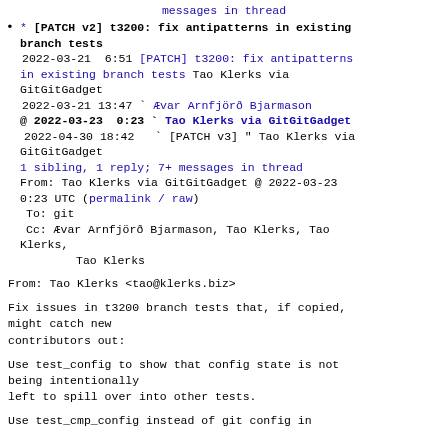messages in thread
* [PATCH v2] t3200: fix antipatterns in existing branch tests
    2022-03-21  6:51 [PATCH] t3200: fix antipatterns in existing branch tests Tao Klerks via GitGitGadget
    2022-03-21 13:47 ` Ævar Arnfjörð Bjarmason
  @ 2022-03-23  0:23 ` Tao Klerks via GitGitGadget
    2022-04-30 18:42   ` [PATCH v3] " Tao Klerks via GitGitGadget
  1 sibling, 1 reply; 7+ messages in thread
From: Tao Klerks via GitGitGadget @ 2022-03-23 0:23 UTC (permalink / raw)
  To: git
  Cc: Ævar Arnfjörð Bjarmason, Tao Klerks, Tao Klerks,
          Tao Klerks
From: Tao Klerks <tao@klerks.biz>
Fix issues in t3200 branch tests that, if copied, might catch new
contributors out:
Use test_config to show that config state is not being intentionally
left to spill over into other tests.
Use test_cmp_config instead of git config in